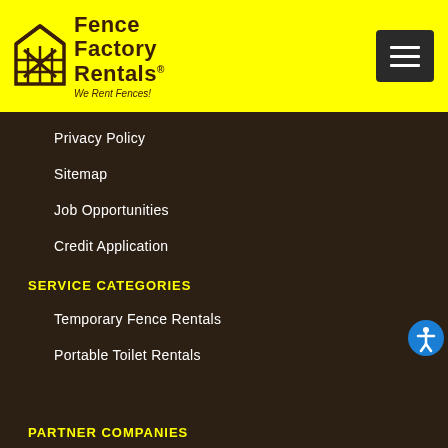[Figure (logo): Fence Factory Rentals logo with house/fence icon, brand name, and tagline 'We Rent Fences!']
Privacy Policy
Sitemap
Job Opportunities
Credit Application
SERVICE CATEGORIES
Temporary Fence Rentals
Portable Toilet Rentals
PARTNER COMPANIES